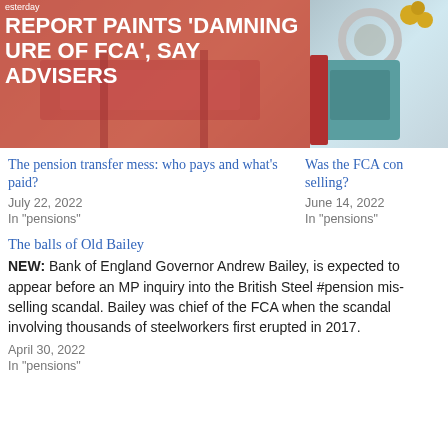[Figure (photo): Red-tinted image of a Social Work sign with headline 'REPORT PAINTS DAMNING PICTURE OF FCA, SAY ADVISERS' overlaid in white bold text]
[Figure (illustration): Colorful illustration with gears and mechanical elements, partially visible on right side]
The pension transfer mess: who pays and what's paid?
July 22, 2022
In "pensions"
Was the FCA con selling?
June 14, 2022
In "pensions"
The balls of Old Bailey
NEW: Bank of England Governor Andrew Bailey, is expected to appear before an MP inquiry into the British Steel #pension mis-selling scandal. Bailey was chief of the FCA when the scandal involving thousands of steelworkers first erupted in 2017.
April 30, 2022
In "pensions"